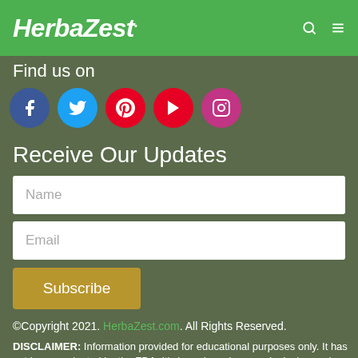HerbaZest.
Find us on
[Figure (infographic): Social media icons: Facebook (blue circle), Twitter (light blue circle), Pinterest (red circle), YouTube (red circle), Instagram (purple/pink circle)]
Receive Our Updates
Name (input field placeholder)
Email (input field placeholder)
Subscribe (button)
©Copyright 2021. HerbaZest.com. All Rights Reserved.
DISCLAIMER: Information provided for educational purposes only. It has not been evaluated by the FDA. It's based on pharmacological records, scientific research, traditional knowledge, and historical data. HerbaZest.com is not